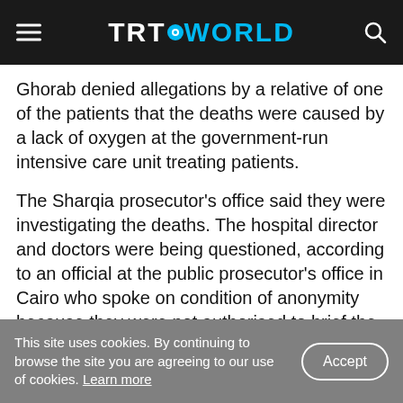TRT WORLD
Ghorab denied allegations by a relative of one of the patients that the deaths were caused by a lack of oxygen at the government-run intensive care unit treating patients.
The Sharqia prosecutor's office said they were investigating the deaths. The hospital director and doctors were being questioned, according to an official at the public prosecutor's office in Cairo who spoke on condition of anonymity because they were not authorised to brief the media.
This site uses cookies. By continuing to browse the site you are agreeing to our use of cookies. Learn more